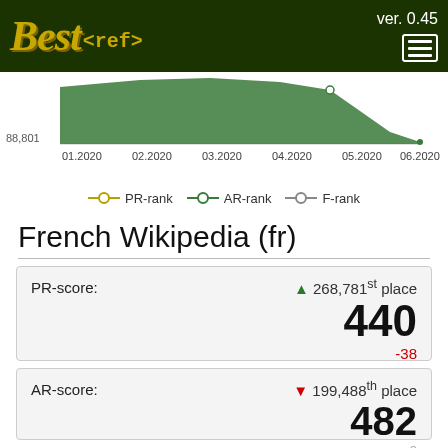Best<ref> ver. 0.45
[Figure (continuous-plot): Area/line chart showing rank trends over time from 01.2020 to 06.2020, with a green filled area. Y-axis shows value 88,801. X-axis labels: 01.2020, 02.2020, 03.2020, 04.2020, 05.2020, 06.2020.]
PR-rank  AR-rank  F-rank
French Wikipedia (fr)
PR-score: ▲ 268,781st place
440
-38
AR-score: ▼ 199,488th place
482
0